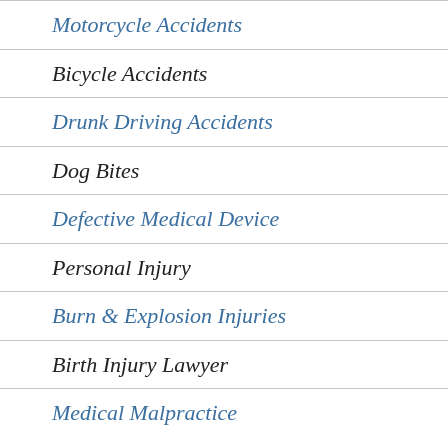Motorcycle Accidents
Bicycle Accidents
Drunk Driving Accidents
Dog Bites
Defective Medical Device
Personal Injury
Burn & Explosion Injuries
Birth Injury Lawyer
Medical Malpractice